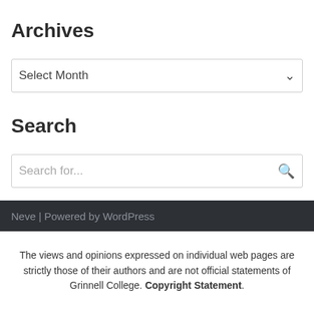Archives
Select Month
Search
Search for...
Neve | Powered by WordPress
The views and opinions expressed on individual web pages are strictly those of their authors and are not official statements of Grinnell College. Copyright Statement.